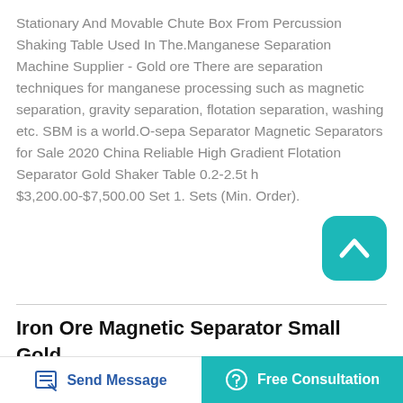Stationary And Movable Chute Box From Percussion Shaking Table Used In The.Manganese Separation Machine Supplier - Gold ore There are separation techniques for manganese processing such as magnetic separation, gravity separation, flotation separation, washing etc. SBM is a world.O-sepa Separator Magnetic Separators for Sale 2020 China Reliable High Gradient Flotation Separator Gold Shaker Table 0.2-2.5t h $3,200.00-$7,500.00 Set 1. Sets (Min. Order).
[Figure (other): Teal rounded square button with a white upward chevron/caret icon]
Iron Ore Magnetic Separator Small Gold Ore Flotation Cell
Gold Silver Ore Flotation Separator Gold Silver Ore.
Send Message   Free Consultation